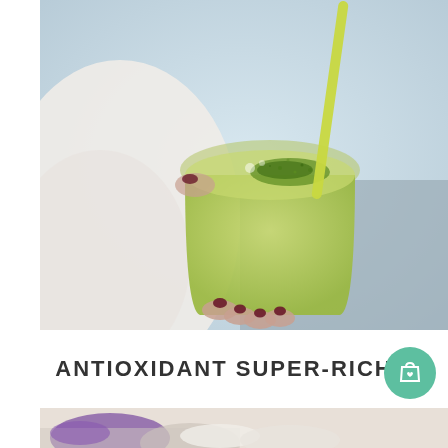[Figure (photo): Overhead view of a person with dark painted nails holding a glass of green smoothie with a yellow-green straw, topped with green powder. Light blurred background.]
ANTIOXIDANT SUPER-RICH
[Figure (photo): Partial view of a bowl with colorful food items, purple and light-colored toppings visible at bottom of page.]